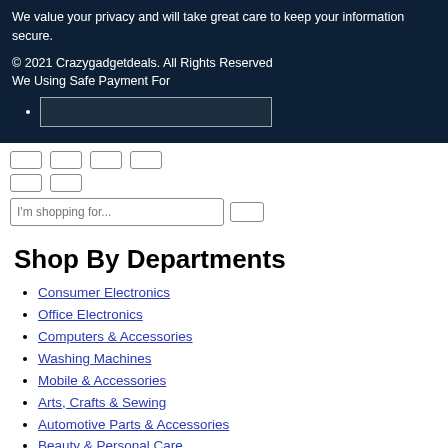We value your privacy and will take great care to keep your information secure.
© 2021 Crazygadgetdeals. All Rights Reserved
We Using Safe Payment For
[payment image placeholder]
[Figure (screenshot): Navigation UI controls: rows of buttons and a search input field with placeholder text 'I'm shopping for...']
Shop By Departments
Consumer Electronics
Office Electronics
Computers & Accessories
Washing Machines
Mobile & Accessories
Arts, Crafts & Sewing
Automotive Parts & Accessories
Beauty & Personal Care
Garden & Outdoor
Tools & Home Improvement
Grocery & Gourmet Food
Health, Household & Baby Care